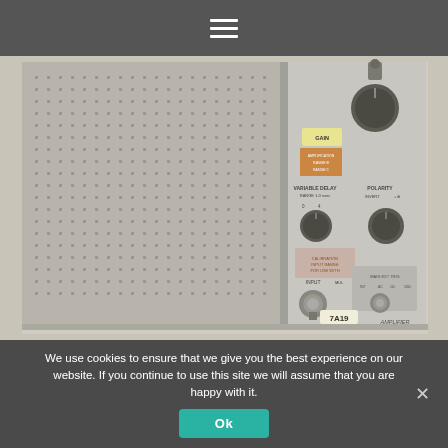☰
[Figure (photo): Photograph of a vintage electronic instrument module (Tektronix 7A19 amplifier plugin) showing front panel controls including GAIN knob, VARIABLE DELAY controls, POLARITY switch (INVERT/+), INPUT BNC connector, and AMPLIFIER label. The unit has a perforated metal side panel.]
We use cookies to ensure that we give you the best experience on our website. If you continue to use this site we will assume that you are happy with it.